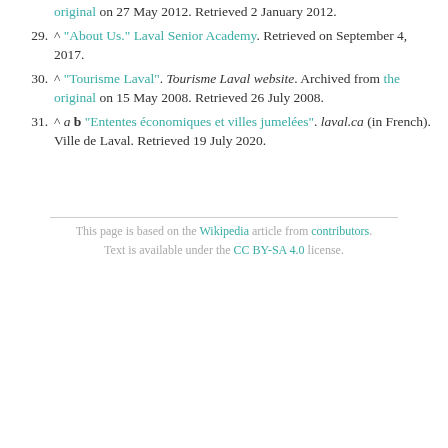29. ^ "About Us." Laval Senior Academy. Retrieved on September 4, 2017.
30. ^ "Tourisme Laval". Tourisme Laval website. Archived from the original on 15 May 2008. Retrieved 26 July 2008.
31. ^ a b "Ententes économiques et villes jumelées". laval.ca (in French). Ville de Laval. Retrieved 19 July 2020.
This page is based on the Wikipedia article from contributors. Text is available under the CC BY-SA 4.0 license.